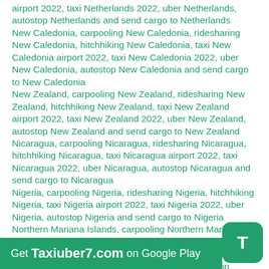airport 2022, taxi Netherlands 2022, uber Netherlands, autostop Netherlands and send cargo to Netherlands
New Caledonia, carpooling New Caledonia, ridesharing New Caledonia, hitchhiking New Caledonia, taxi New Caledonia airport 2022, taxi New Caledonia 2022, uber New Caledonia, autostop New Caledonia and send cargo to New Caledonia
New Zealand, carpooling New Zealand, ridesharing New Zealand, hitchhiking New Zealand, taxi New Zealand airport 2022, taxi New Zealand 2022, uber New Zealand, autostop New Zealand and send cargo to New Zealand
Nicaragua, carpooling Nicaragua, ridesharing Nicaragua, hitchhiking Nicaragua, taxi Nicaragua airport 2022, taxi Nicaragua 2022, uber Nicaragua, autostop Nicaragua and send cargo to Nicaragua
Nigeria, carpooling Nigeria, ridesharing Nigeria, hitchhiking Nigeria, taxi Nigeria airport 2022, taxi Nigeria 2022, uber Nigeria, autostop Nigeria and send cargo to Nigeria
Northern Mariana Islands, carpooling Northern Mariana Islands, ridesharing Northern Mariana Islands, hitchhiking Northern Mariana Islands, taxi Northern Mariana Islands airport 2022, taxi Northern Mariana Islands, autostop Northern Mariana Islands and send cargo to
Get Taxiuber7.com on Google Play